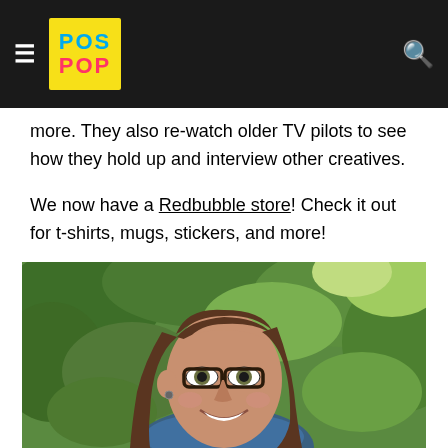POS POP [navigation header with hamburger menu and search icon]
more. They also re-watch older TV pilots to see how they hold up and interview other creatives.
We now have a Redbubble store! Check it out for t-shirts, mugs, stickers, and more!
[Figure (photo): Portrait photo of a woman with long brown hair, glasses, wearing a blue denim shirt, smiling outdoors with green leafy bushes in the background.]